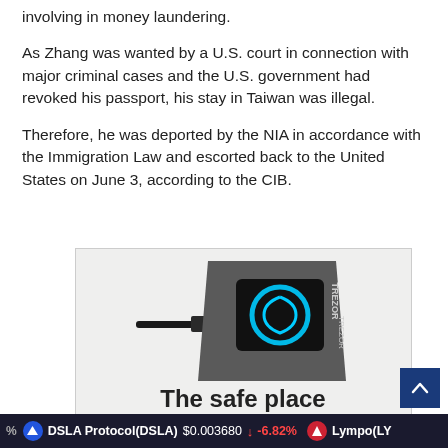involving in money laundering.
As Zhang was wanted by a U.S. court in connection with major criminal cases and the U.S. government had revoked his passport, his stay in Taiwan was illegal.
Therefore, he was deported by the NIA in accordance with the Immigration Law and escorted back to the United States on June 3, according to the CIB.
[Figure (photo): Advertisement image showing a Trezor hardware cryptocurrency wallet device connected via USB cable, with a display showing a circular icon. Below the device is bold text reading 'The safe place'.]
% DSLA Protocol(DSLA) $0.003680 ↓ -6.82% Lympo(LY